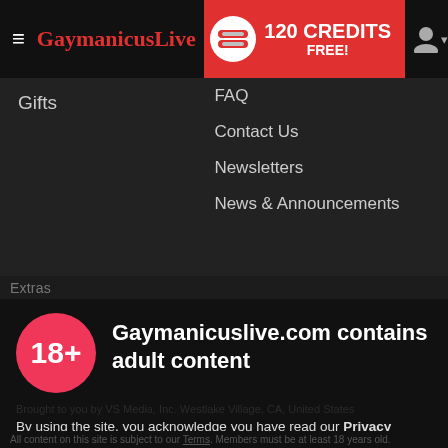GaymanicusLive — 120 CREDITS FREE!
Gifts
FAQ
Contact Us
Newsletters
News & Announcements
Extras
Gaymanicuslive.com contains adult content
By using the site, you acknowledge you have read our Privacy Policy, and agree to our Terms and Conditions.
We use cookies to optimize your experience, analyze traffic, and deliver more personalized service. To learn more, please see our Privacy Policy.